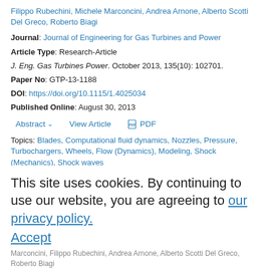Filippo Rubechini, Michele Marconcini, Andrea Arnone, Alberto Scotti Del Greco, Roberto Biagi
Journal: Journal of Engineering for Gas Turbines and Power
Article Type: Research-Article
J. Eng. Gas Turbines Power. October 2013, 135(10): 102701.
Paper No: GTP-13-1188
DOI: https://doi.org/10.1115/1.4025034
Published Online: August 30, 2013
Abstract  View Article  PDF
Topics: Blades, Computational fluid dynamics, Nozzles, Pressure, Turbochargers, Wheels, Flow (Dynamics), Modeling, Shock (Mechanics), Shock waves
PROCEEDINGS PAPERS
Aerodynamic Investigation of a High Pressure Ratio
This site uses cookies. By continuing to use our website, you are agreeing to our privacy policy. Accept
Marconcini, Filippo Rubechini, Andrea Arnone, Alberto Scotti Del Greco, Roberto Biagi